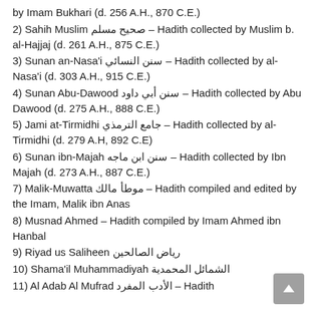by Imam Bukhari (d. 256 A.H., 870 C.E.)
2) Sahih Muslim صحيح مسلم – Hadith collected by Muslim b. al-Hajjaj (d. 261 A.H., 875 C.E.)
3) Sunan an-Nasa'i سنن النسائي – Hadith collected by al-Nasa'i (d. 303 A.H., 915 C.E.)
4) Sunan Abu-Dawood سنن أبي داود – Hadith collected by Abu Dawood (d. 275 A.H., 888 C.E.)
5) Jami at-Tirmidhi جامع الترمذي – Hadith collected by al-Tirmidhi (d. 279 A.H, 892 C.E)
6) Sunan ibn-Majah سنن ابن ماجه – Hadith collected by Ibn Majah (d. 273 A.H., 887 C.E.)
7) Malik-Muwatta موطأ مالك – Hadith compiled and edited by the Imam, Malik ibn Anas
8) Musnad Ahmed – Hadith compiled by Imam Ahmed ibn Hanbal
9) Riyad us Saliheen رياض الصالحين
10) Shama'il Muhammadiyah الشمائل المحمدية
11) Al Adab Al Mufrad الأدب المفرد – Hadith